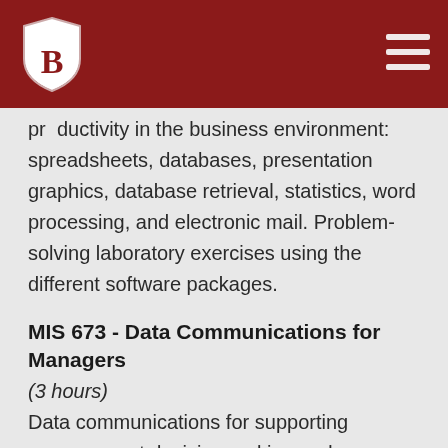B (Bradley University logo) [hamburger menu]
productivity in the business environment: spreadsheets, databases, presentation graphics, database retrieval, statistics, word processing, and electronic mail. Problem-solving laboratory exercises using the different software packages.
MIS 673 - Data Communications for Managers
(3 hours)
Data communications for supporting management decision making and group coordination: communication technologies, idea generation and group collaboration, data and video conferencing, emerging technologies for communication and